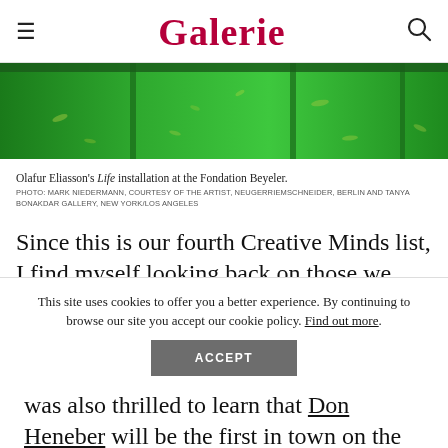Galerie
[Figure (photo): Green art installation panels at the Fondation Beyeler — Olafur Eliasson's Life installation]
Olafur Eliasson's Life installation at the Fondation Beyeler.
PHOTO: MARK NIEDERMANN, COURTESY OF THE ARTIST, NEUGERRIEMSCHNEIDER, BERLIN AND TANYA BONAKDAR GALLERY, NEW YORK/LOS ANGELES
Since this is our fourth Creative Minds list, I find myself looking back on those we have celebrated in the past—and am astonished by how much these
This site uses cookies to offer you a better experience. By continuing to browse our site you accept our cookie policy. Find out more.
was also thrilled to learn that Don Heneber will be the first in town on the design